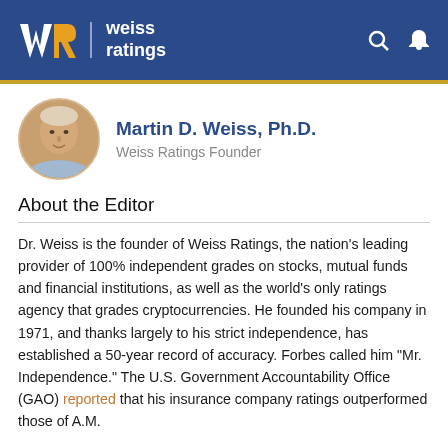Weiss Ratings
[Figure (photo): Circular headshot photo of Martin D. Weiss]
Martin D. Weiss, Ph.D.
Weiss Ratings Founder
About the Editor
Dr. Weiss is the founder of Weiss Ratings, the nation's leading provider of 100% independent grades on stocks, mutual funds and financial institutions, as well as the world's only ratings agency that grades cryptocurrencies. He founded his company in 1971, and thanks largely to his strict independence, has established a 50-year record of accuracy. Forbes called him “Mr. Independence.” The U.S. Government Accountability Office (GAO) reported that his insurance company ratings outperformed those of A.M.